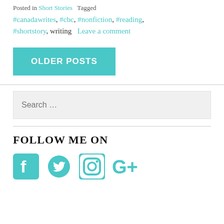Posted in Short Stories  Tagged
#canadawrites, #cbc, #nonfiction, #reading, #shortstory, writing  Leave a comment
OLDER POSTS
Search …
FOLLOW ME ON
[Figure (illustration): Four social media icons in teal: Facebook, Twitter, Instagram, Google+]